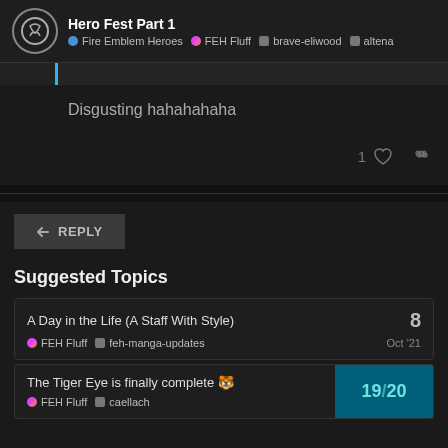Hero Fest Part 1 | Fire Emblem Heroes | FEH Fluff | brave-eliwood | altena
Disgusting hahahahaha
1 (like)
REPLY
Suggested Topics
A Day in the Life (A Staff With Style) | FEH Fluff | feh-manga-updates | 8 | Oct '21
The Tiger Eye is finally complete 🐯 | FEH Fluff | caellach | 19/20